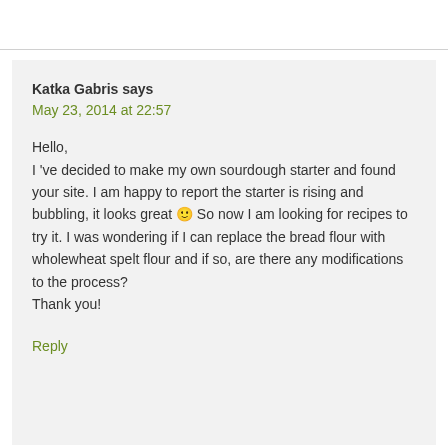Katka Gabris says
May 23, 2014 at 22:57
Hello,
I 've decided to make my own sourdough starter and found your site. I am happy to report the starter is rising and bubbling, it looks great 🙂 So now I am looking for recipes to try it. I was wondering if I can replace the bread flour with wholewheat spelt flour and if so, are there any modifications to the process?
Thank you!
Reply